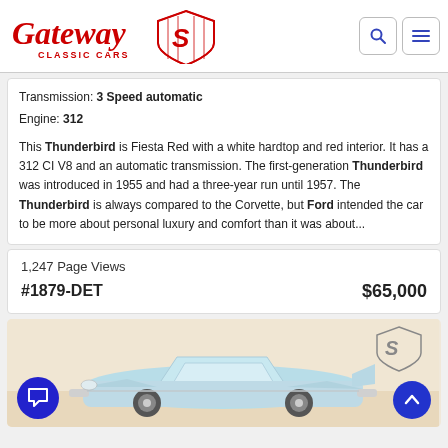Gateway Classic Cars
Transmission: 3 Speed automatic
Engine: 312
This Thunderbird is Fiesta Red with a white hardtop and red interior. It has a 312 CI V8 and an automatic transmission. The first-generation Thunderbird was introduced in 1955 and had a three-year run until 1957. The Thunderbird is always compared to the Corvette, but Ford intended the car to be more about personal luxury and comfort than it was about...
1,247 Page Views
#1879-DET    $65,000
[Figure (photo): Light blue classic Ford Thunderbird convertible car photographed in a showroom setting, with Gateway Classic Cars logo visible in corner.]